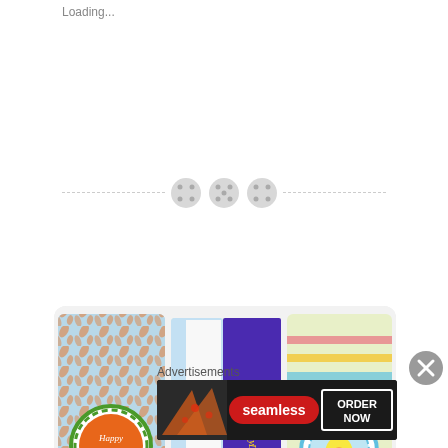Loading...
[Figure (photo): Three decorative Easter/spring craft card-and-gift-box items side by side on a white wooden surface. Left: a tall card with orange leaf pattern and orange gingham ribbon bow with a circular rosette badge reading 'Happy Easter'. Center: an open tri-fold card with orange leaf pattern and a Cadbury Dairy Milk chocolate bar tucked inside, with orange gingham bow. Right: a tall card with colorful stripe pattern and a yellow ribbon bow with a circular rosette badge with Easter egg graphic.]
Card & Gift Box In One
Advertisements
[Figure (photo): Seamless food delivery advertisement banner showing pizza slices on left, Seamless logo in center on red rounded rectangle, and 'ORDER NOW' text on right in white box on dark background.]